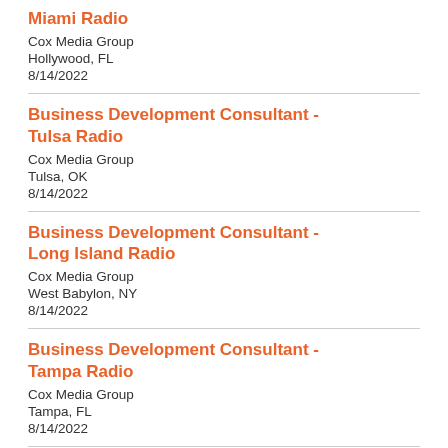Miami Radio
Cox Media Group
Hollywood, FL
8/14/2022
Business Development Consultant - Tulsa Radio
Cox Media Group
Tulsa, OK
8/14/2022
Business Development Consultant - Long Island Radio
Cox Media Group
West Babylon, NY
8/14/2022
Business Development Consultant - Tampa Radio
Cox Media Group
Tampa, FL
8/14/2022